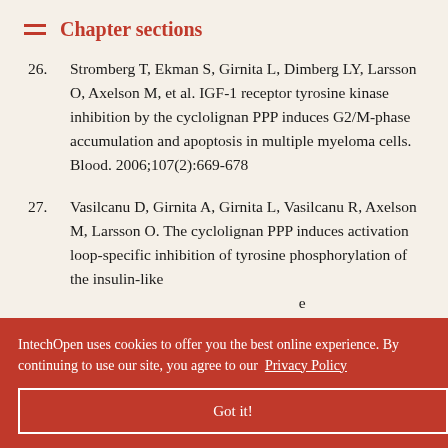Chapter sections
Stromberg T, Ekman S, Girnita L, Dimberg LY, Larsson O, Axelson M, et al. IGF-1 receptor tyrosine kinase inhibition by the cyclolignan PPP induces G2/M-phase accumulation and apoptosis in multiple myeloma cells. Blood. 2006;107(2):669-678
Vasilcanu D, Girnita A, Girnita L, Vasilcanu R, Axelson M, Larsson O. The cyclolignan PPP induces activation loop-specific inhibition of tyrosine phosphorylation of the insulin-like growth factor-1 receptor and mammalian target of rapamycin-induced apoptotic signals. Oncogene. 2004;23(54):7854-7862
...disruption of ...induced apoptosis: A new potential therapy for the